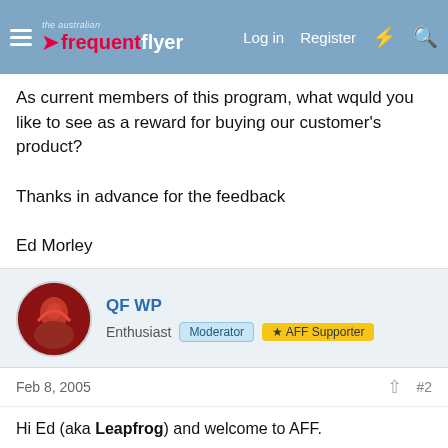the australian frequent flyer | Log in | Register
As current members of this program, what would you like to see as a reward for buying our customer's product?

Thanks in advance for the feedback

Ed Morley
QF WP | Enthusiast | Moderator | AFF Supporter
Feb 8, 2005  #2
Hi Ed (aka Leapfrog) and welcome to AFF.

We were aware of your first campaign - it was discussed here by some of us.
I'll be the one to say that I voted for frequent flyer points. Being what I consider as a "sophisticated" traveller, I dislike the